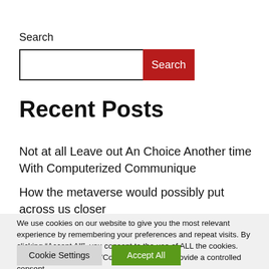Search
[Figure (screenshot): Search input box with red Search button]
Recent Posts
Not at all Leave out An Choice Another time With Computerized Communique
How the metaverse would possibly put across us closer
We use cookies on our website to give you the most relevant experience by remembering your preferences and repeat visits. By clicking “Accept All”, you consent to the use of ALL the cookies. However, you may visit "Cookie Settings" to provide a controlled consent.